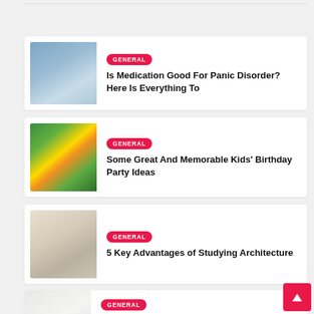[Figure (photo): Hands holding a white folded fabric or pillow]
GENERAL
Is Medication Good For Panic Disorder? Here Is Everything To
[Figure (photo): Group of people in blue shirts in front of green and yellow balloon decorations]
GENERAL
Some Great And Memorable Kids' Birthday Party Ideas
[Figure (photo): Hand holding a pen writing architectural drawings]
GENERAL
5 Key Advantages of Studying Architecture
[Figure (photo): Interior room with ceiling and walls]
GENERAL
4 Steps of Home Deep Cleaning